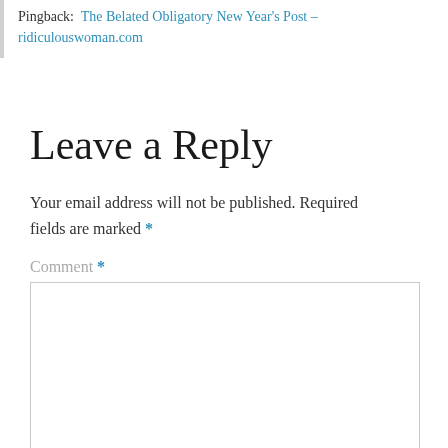Pingback: The Belated Obligatory New Year's Post – ridiculouswoman.com
Leave a Reply
Your email address will not be published. Required fields are marked *
Comment *